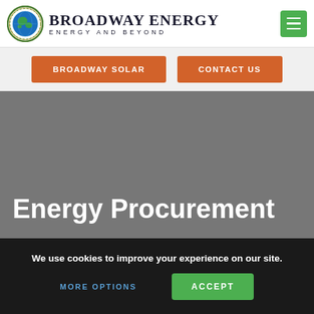[Figure (logo): Broadway Energy logo with globe icon and text 'BROADWAY ENERGY / ENERGY AND BEYOND']
BROADWAY SOLAR
CONTACT US
Energy Procurement
We use cookies to improve your experience on our site.
MORE OPTIONS
ACCEPT